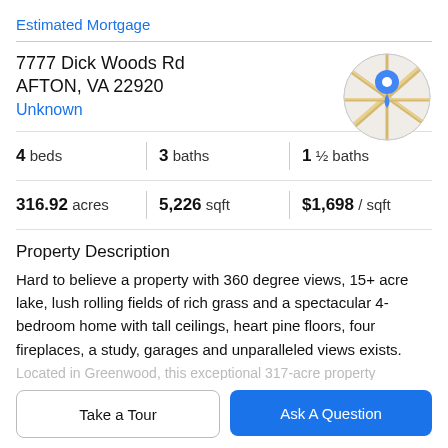Estimated Mortgage
7777 Dick Woods Rd
AFTON, VA 22920
Unknown
[Figure (map): Circular map thumbnail showing road map with a blue location pin marker]
4 beds | 3 baths | 1 ½ baths
316.92 acres | 5,226 sqft | $1,698 / sqft
Property Description
Hard to believe a property with 360 degree views, 15+ acre lake, lush rolling fields of rich grass and a spectacular 4-bedroom home with tall ceilings, heart pine floors, four fireplaces, a study, garages and unparalleled views exists.
Located in Greenwood, this exceptional 317-acre property
Take a Tour
Ask A Question